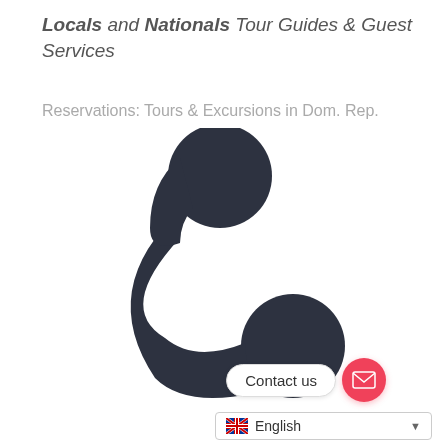Locals and Nationals Tour Guides & Guest Services
Reservations: Tours & Excursions in Dom. Rep.
[Figure (illustration): Large dark phone handset icon centered in the lower portion of the page]
Contact us
English